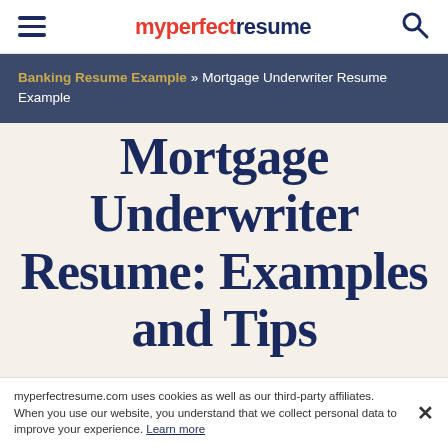myperfectresume
Banking Resume Example » Mortgage Underwriter Resume Example
Mortgage Underwriter Resume: Examples and Tips
myperfectresume.com uses cookies as well as our third-party affiliates. When you use our website, you understand that we collect personal data to improve your experience. Learn more